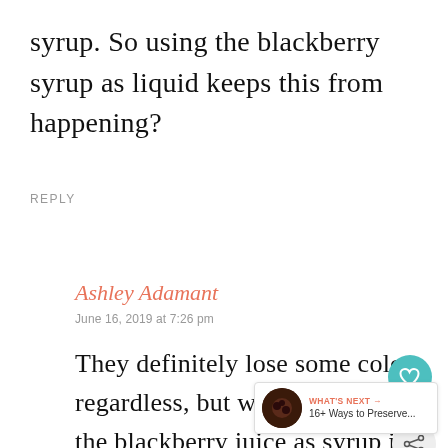syrup. So using the blackberry syrup as liquid keeps this from happening?
REPLY
Ashley Adamant
June 16, 2019 at 7:26 pm
They definitely lose some color regardless, but when you use the blackberry juice as syrup it better. I just opened a jar of these